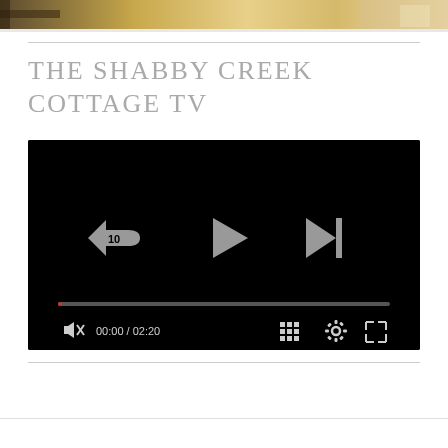[Figure (photo): Top banner image showing a partial view of a cottage or outdoor scene with warm tones]
THE SHABBY CREEK COTTAGE TV
[Figure (screenshot): Video player showing a black screen with playback controls: rewind 10s button, play button, skip-next button, progress bar, mute button, time display 00:00 / 02:20, grid/chapters button, settings gear button, fullscreen button]